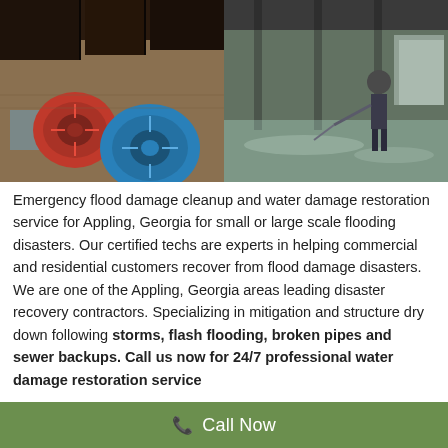[Figure (photo): Two side-by-side photos: left shows red and blue industrial air movers/drying fans on a flooded kitchen floor with dark cabinets; right shows a worker in a flooded commercial space using a hose or equipment on a reflective wet floor.]
Emergency flood damage cleanup and water damage restoration service for Appling, Georgia for small or large scale flooding disasters. Our certified techs are experts in helping commercial and residential customers recover from flood damage disasters. We are one of the Appling, Georgia areas leading disaster recovery contractors. Specializing in mitigation and structure dry down following storms, flash flooding, broken pipes and sewer backups. Call us now for 24/7 professional water damage restoration service
Appling, Georgia Water...
Call Now